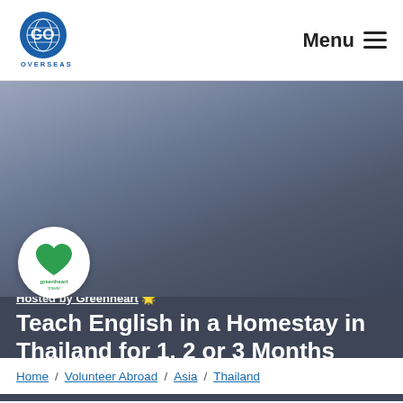Go Overseas — Menu
[Figure (photo): Hero banner with blue-grey gradient background for Teach English in a Homestay in Thailand program]
[Figure (logo): Greenheart Travel circular logo with green heart on white circle]
Hosted by Greenheart 🌟
Teach English in a Homestay in Thailand for 1, 2 or 3 Months
Read 1 review • 9 Rating • Leave a Review
Home / Volunteer Abroad / Asia / Thailand